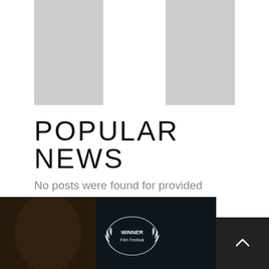[Figure (illustration): Stylized arch/gateway shape in light gray on white background, resembling a website logo or icon silhouette cropped at top]
POPULAR NEWS
No posts were found for provided query parameters.
[Figure (photo): Dark cinematic film still showing a person's face with a white laurel wreath award badge reading 'WINNER Film Festival' overlaid in the center]
[Figure (other): Dark square button with a white upward-pointing caret/arrow icon, used as a scroll-to-top button]